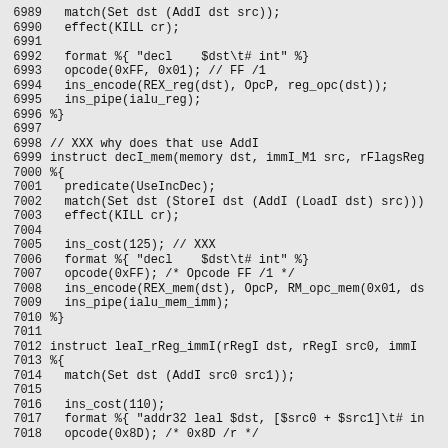6989   match(Set dst (AddI dst src));
6990   effect(KILL cr);
6991
6992   format %{ "decl    $dst\t# int" %}
6993   opcode(0xFF, 0x01); // FF /1
6994   ins_encode(REX_reg(dst), OpcP, reg_opc(dst));
6995   ins_pipe(ialu_reg);
6996 %}
6997
6998 // XXX why does that use AddI
6999 instruct decI_mem(memory dst, immI_M1 src, rFlagsReg...
7000 %{
7001   predicate(UseIncDec);
7002   match(Set dst (StoreI dst (AddI (LoadI dst) src)));
7003   effect(KILL cr);
7004
7005   ins_cost(125); // XXX
7006   format %{ "decl    $dst\t# int" %}
7007   opcode(0xFF); /* Opcode FF /1 */
7008   ins_encode(REX_mem(dst), OpcP, RM_opc_mem(0x01, dst...
7009   ins_pipe(ialu_mem_imm);
7010 %}
7011
7012 instruct leaI_rReg_immI(rRegI dst, rRegI src0, immI...
7013 %{
7014   match(Set dst (AddI src0 src1));
7015
7016   ins_cost(110);
7017   format %{ "addr32 leal $dst, [$src0 + $src1]\t# in...
7018   opcode(0x8D); /* 0x8D /r */